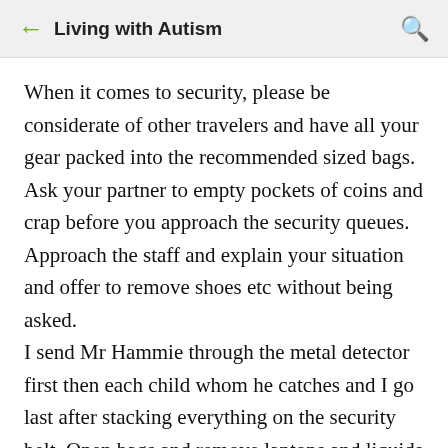Living with Autism
When it comes to security, please be considerate of other travelers and have all your gear packed into the recommended sized bags. Ask your partner to empty pockets of coins and crap before you approach the security queues. Approach the staff and explain your situation and offer to remove shoes etc without being asked. I send Mr Hammie through the metal detector first then each child whom he catches and I go last after stacking everything on the security belt. Open bags and remove laptops and liquids etc in the regulation see through bags as requested. Be